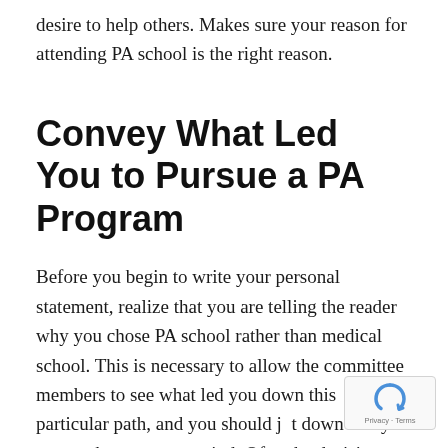desire to help others. Makes sure your reason for attending PA school is the right reason.
Convey What Led You to Pursue a PA Program
Before you begin to write your personal statement, realize that you are telling the reader why you chose PA school rather than medical school. This is necessary to allow the committee members to see what led you down this particular path, and you should jot down every reason that comes to mind. Of the decision to pursue a graduate degree is